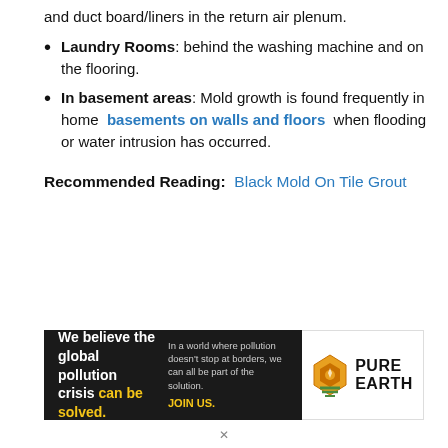and duct board/liners in the return air plenum.
Laundry Rooms: behind the washing machine and on the flooring.
In basement areas: Mold growth is found frequently in home basements on walls and floors when flooding or water intrusion has occurred.
Recommended Reading:  Black Mold On Tile Grout
[Figure (infographic): Pure Earth advertisement banner: black background with text 'We believe the global pollution crisis can be solved.' and 'In a world where pollution doesn't stop at borders, we can all be part of the solution. JOIN US.' with Pure Earth logo on the right.]